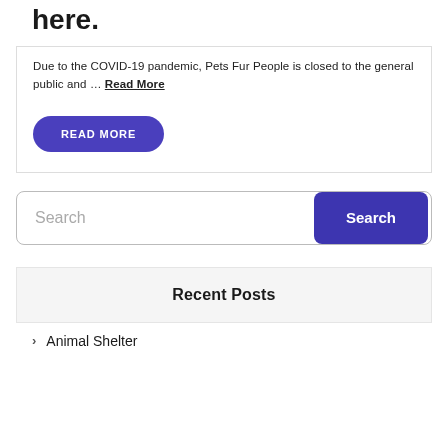here.
Due to the COVID-19 pandemic, Pets Fur People is closed to the general public and … Read More
READ MORE
Search
Recent Posts
Animal Shelter